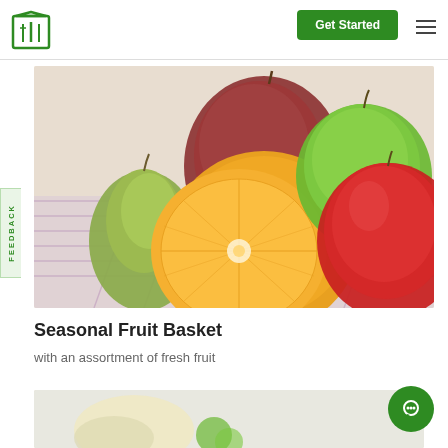Get Started
[Figure (photo): Photo of assorted fresh fruit including sliced oranges, green and red pears, mango, and green and red apples arranged on a purple checkered cloth on a white wooden surface.]
Seasonal Fruit Basket
with an assortment of fresh fruit
[Figure (photo): Partial photo showing bottom of page, appears to be another food item image.]